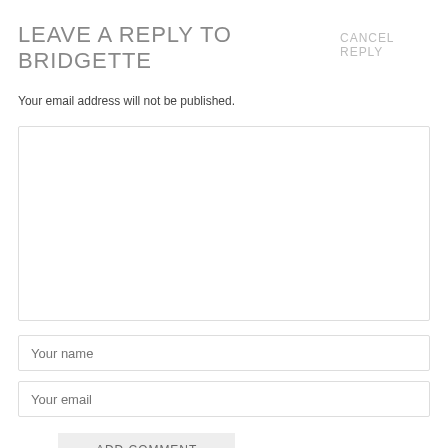LEAVE A REPLY TO BRIDGETTE CANCEL REPLY
Your email address will not be published.
Your name
Your email
ADD COMMENT